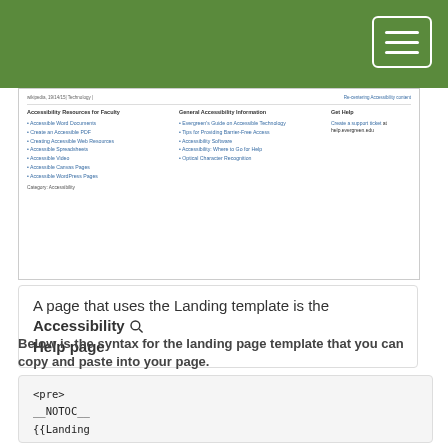[Figure (screenshot): Screenshot of a wiki page showing Accessibility Resources for Faculty, General Accessibility Information, and Get Help sections with links]
A page that uses the Landing template is the Accessibility Help page
Below is the syntax for the landing page template that you can copy and paste into your page.
<pre>
__NOTOC__
{{Landing
|lead=
Lead text or brief overview of the page conte
|content=
Page content that falls under the main page,
|col1=